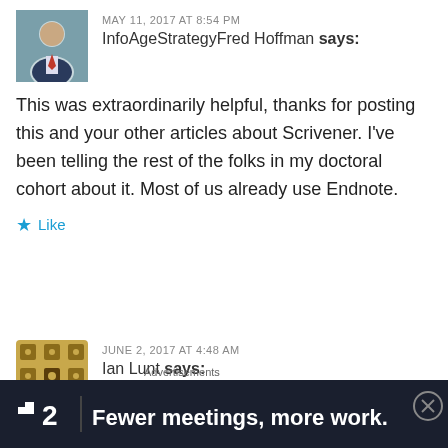MAY 11, 2017 AT 8:54 PM
InfoAgeStrategyFred Hoffman says:
This was extraordinarily helpful, thanks for posting this and your other articles about Scrivener. I've been telling the rest of the folks in my doctoral cohort about it. Most of us already use Endnote.
Like
JUNE 2, 2017 AT 4:48 AM
Ian Lunt says:
Thank you Elaine for this great tip; it saved me lots of
Advertisements
[Figure (screenshot): Advertisement banner: dark navy background with a small white square icon, bold text '2' and 'Fewer meetings, more work.']